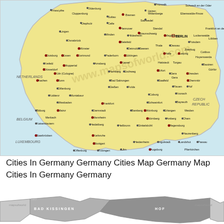[Figure (map): Map of Germany showing major cities including Berlin (capital), Munich, Hamburg, Frankfurt, Cologne (Köln), Stuttgart, Düsseldorf, Dortmund, Essen, and many others. Neighboring countries labeled: Netherlands, Belgium, Luxembourg, France, Switzerland, Liechtenstein, Austria, Czech Republic. Legend shows International Boundary, Country Capital, Major City, Other City. Copyright 2011-12 www.mapsofworld.com. Scale bar showing 0-50-100 Km and 0-50 Miles.]
Cities In Germany Germany Cities Map Germany Map Cities In Germany Germany
[Figure (map): Partial grayscale map showing regions of Germany including Bad Kissingen and Hof districts, partially visible at bottom of page.]